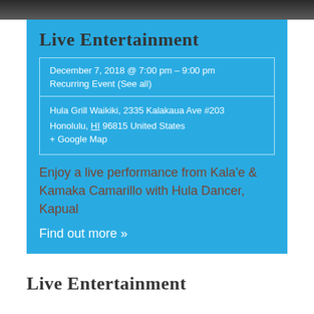[Figure (photo): Dark top image strip, partially visible photograph]
Live Entertainment
| December 7, 2018 @ 7:00 pm – 9:00 pm | Recurring Event (See all) |
| Hula Grill Waikiki, 2335 Kalakaua Ave #203
Honolulu, HI 96815 United States
+ Google Map |  |
Enjoy a live performance from Kala'e & Kamaka Camarillo with Hula Dancer, Kapual
Find out more »
Live Entertainment